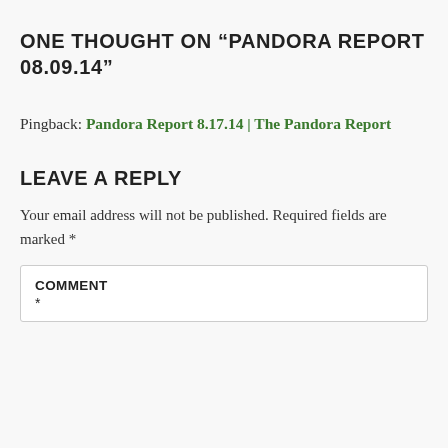ONE THOUGHT ON “PANDORA REPORT 08.09.14”
Pingback: Pandora Report 8.17.14 | The Pandora Report
LEAVE A REPLY
Your email address will not be published. Required fields are marked *
COMMENT *